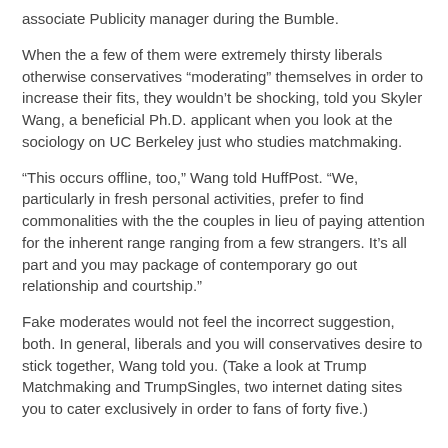associate Publicity manager during the Bumble.
When the a few of them were extremely thirsty liberals otherwise conservatives “moderating” themselves in order to increase their fits, they wouldn’t be shocking, told you Skyler Wang, a beneficial Ph.D. applicant when you look at the sociology on UC Berkeley just who studies matchmaking.
“This occurs offline, too,” Wang told HuffPost. “We, particularly in fresh personal activities, prefer to find commonalities with the the couples in lieu of paying attention for the inherent range ranging from a few strangers. It’s all part and you may package of contemporary go out relationship and courtship.”
Fake moderates would not feel the incorrect suggestion, both. In general, liberals and you will conservatives desire to stick together, Wang told you. (Take a look at Trump Matchmaking and TrumpSingles, two internet dating sites you to cater exclusively in order to fans of forty five.)